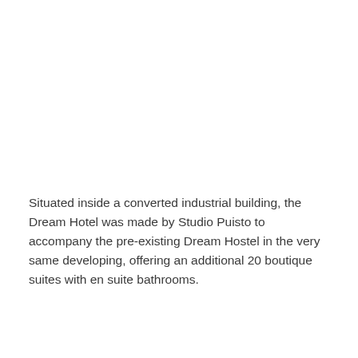Situated inside a converted industrial building, the Dream Hotel was made by Studio Puisto to accompany the pre-existing Dream Hostel in the very same developing, offering an additional 20 boutique suites with en suite bathrooms.